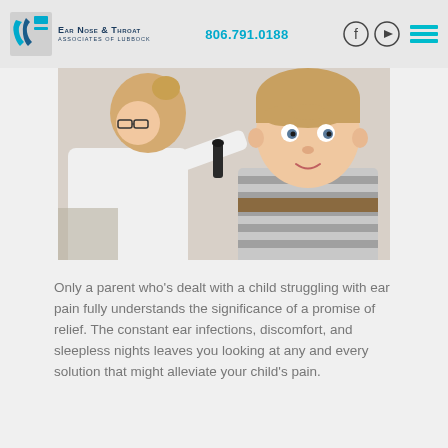Ear Nose & Throat Associates of Lubbock | 806.791.0188
[Figure (photo): A female doctor examining a young child's ear with an otoscope. The child is wearing a striped shirt and looking at the camera.]
Only a parent who’s dealt with a child struggling with ear pain fully understands the significance of a promise of relief. The constant ear infections, discomfort, and sleepless nights leaves you looking at any and every solution that might alleviate your child’s pain.